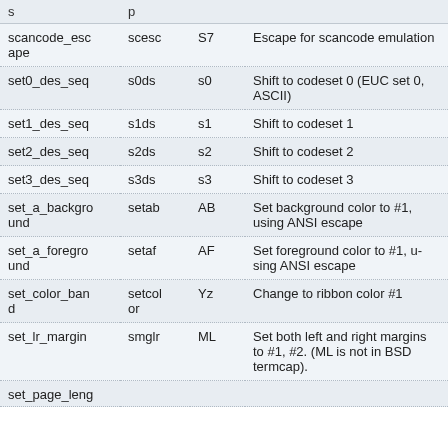| s | p |  |  |
| --- | --- | --- | --- |
| scancode_escape | scesc | S7 | Escape for scancode emulation |
| set0_des_seq | s0ds | s0 | Shift to codeset 0 (EUC set 0, ASCII) |
| set1_des_seq | s1ds | s1 | Shift to codeset 1 |
| set2_des_seq | s2ds | s2 | Shift to codeset 2 |
| set3_des_seq | s3ds | s3 | Shift to codeset 3 |
| set_a_background | setab | AB | Set background color to #1, using ANSI escape |
| set_a_foreground | setaf | AF | Set foreground color to #1, using ANSI escape |
| set_color_band | setcolor | Yz | Change to ribbon color #1 |
| set_lr_margin | smglr | ML | Set both left and right margins to #1, #2. (ML is not in BSD termcap). |
| set_page_leng |  |  |  |